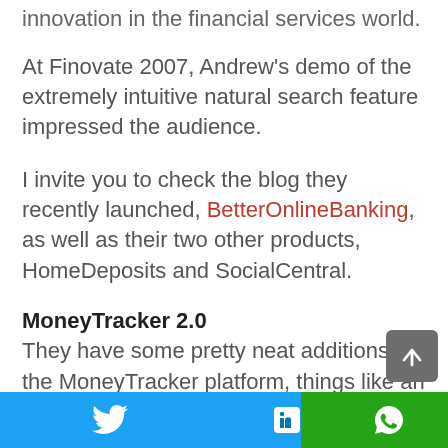innovation in the financial services world.
At Finovate 2007, Andrew's demo of the extremely intuitive natural search feature impressed the audience.
I invite you to check the blog they recently launched, BetterOnlineBanking, as well as their two other products, HomeDeposits and SocialCentral.
MoneyTracker 2.0
They have some pretty neat additions to the MoneyTracker platform, things like an iGoogle-like dashboard (or pageflakes/netvibes like), and a slew embeddable widgets.
Twitter | LinkedIn | WhatsApp